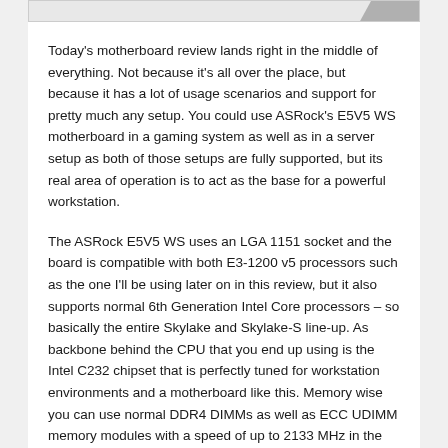[Figure (photo): Top portion of a product/hardware image, partially visible at the top of the page]
Today's motherboard review lands right in the middle of everything. Not because it's all over the place, but because it has a lot of usage scenarios and support for pretty much any setup. You could use ASRock's E5V5 WS motherboard in a gaming system as well as in a server setup as both of those setups are fully supported, but its real area of operation is to act as the base for a powerful workstation.
The ASRock E5V5 WS uses an LGA 1151 socket and the board is compatible with both E3-1200 v5 processors such as the one I'll be using later on in this review, but it also supports normal 6th Generation Intel Core processors – so basically the entire Skylake and Skylake-S line-up. As backbone behind the CPU that you end up using is the Intel C232 chipset that is perfectly tuned for workstation environments and a motherboard like this. Memory wise you can use normal DDR4 DIMMs as well as ECC UDIMM memory modules with a speed of up to 2133 MHz in the four DIMM slots with 15µ gold contacts